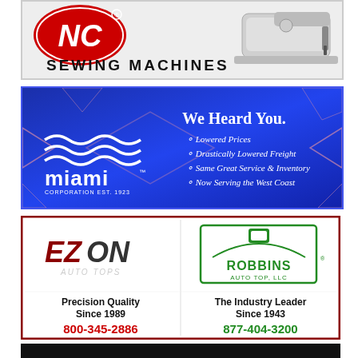[Figure (illustration): NC Sewing Machines advertisement with red oval NC logo and industrial sewing machine photo, text reads SEWING MACHINES]
[Figure (illustration): Miami Corporation advertisement on blue background with white logo and diamond shape, text: We Heard You. Lowered Prices, Drastically Lowered Freight, Same Great Service & Inventory, Now Serving the West Coast. EST. 1923.]
[Figure (illustration): Combined EZon Auto Tops and Robbins Auto Top LLC advertisement. EZon: Precision Quality Since 1989, 800-345-2886. Robbins: The Industry Leader Since 1943, 877-404-3200. Dark red border.]
[Figure (illustration): Partial advertisement at bottom of page, dark background, partially visible.]